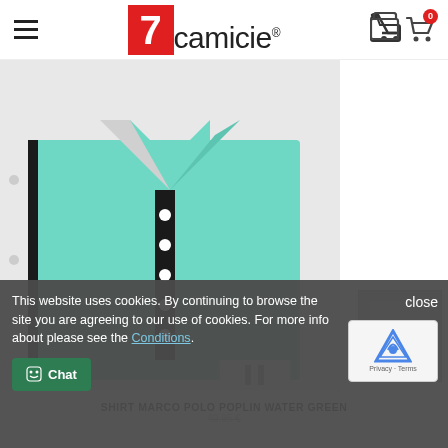[Figure (logo): 7camicie brand logo with red box containing '7' and 'camicie' text]
[Figure (photo): Mint/water green polo shirt (Marco Polo Poplin) folded, showing collar, buttons, and black trim detail]
[Figure (illustration): Small thumbnail icon of short-sleeved shirt silhouette on grey background]
SHIRT MARCO POLO POPLIN WATER GREEN
This website uses cookies. By continuing to browse the site you are agreeing to our use of cookies. For more info about please see the Conditions.
close